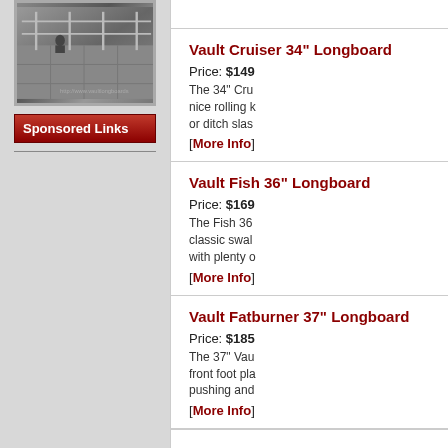[Figure (photo): Skateboarding ramp or concrete structure photo with metal railings]
Sponsored Links
Vault Cruiser 34" Longboard
Price: $149
The 34" Cru nice rolling k or ditch slas
[More Info]
Vault Fish 36" Longboard
Price: $169
The Fish 36 classic swal with plenty o
[More Info]
Vault Fatburner 37" Longboard
Price: $185
The 37" Vau front foot pla pushing and
[More Info]